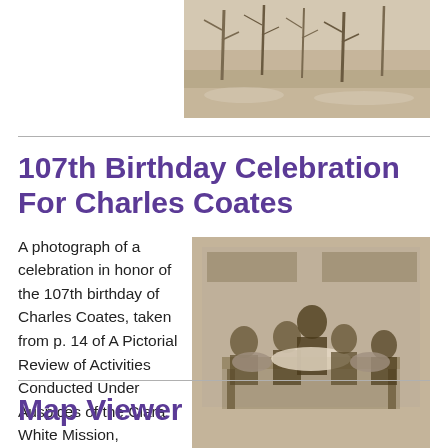[Figure (photo): Sepia-toned historical photograph at top right, showing an outdoor winter scene with trees and snow on the ground.]
107th Birthday Celebration For Charles Coates
A photograph of a celebration in honor of the 107th birthday of Charles Coates, taken from p. 14 of A Pictorial Review of Activities Conducted Under Auspices of the Clara White Mission, available through the Digital Commons of UNF's Thomas G....
[Figure (photo): Sepia-toned historical photograph of people gathered around a table at a birthday celebration, likely at the Clara White Mission.]
Map Viewer
Interactive tool for viewing historical and contemporary...